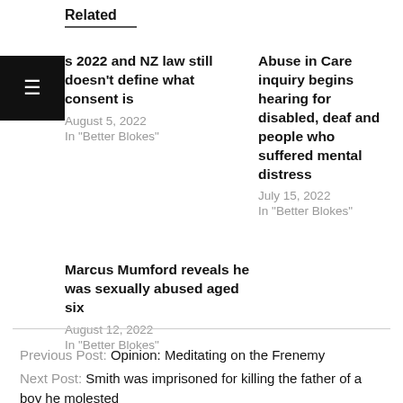Related
s 2022 and NZ law still doesn't define what consent is
August 5, 2022
In "Better Blokes"
Abuse in Care inquiry begins hearing for disabled, deaf and people who suffered mental distress
July 15, 2022
In "Better Blokes"
Marcus Mumford reveals he was sexually abused aged six
August 12, 2022
In "Better Blokes"
Previous Post: Opinion: Meditating on the Frenemy
Next Post: Smith was imprisoned for killing the father of a boy he molested